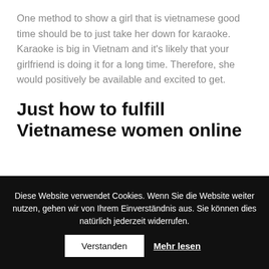One method to show a girl that is vietnamese good time should be to just take her down for karaoke. Karaoke is big in Vietnam and it's likely that your girlfriend is doing it for a long time. Therefore, she would positively be available and excited to get.
Just how to fulfill Vietnamese women online
Diese Website verwendet Cookies. Wenn Sie die Website weiter nutzen, gehen wir von Ihrem Einverständnis aus. Sie können dies natürlich jederzeit widerrufen.